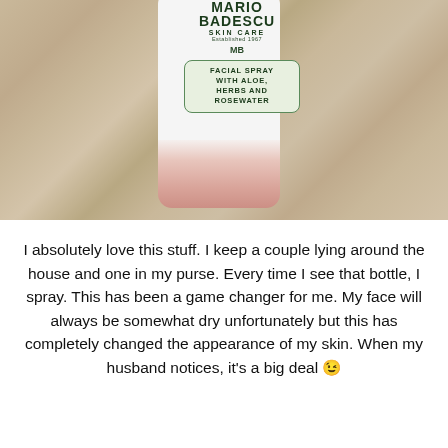[Figure (photo): A Mario Badescu Skin Care Facial Spray with Aloe, Herbs and Rosewater bottle (4 fl oz / 118 ml) with a pink liquid bottom, sitting on a granite countertop.]
I absolutely love this stuff. I keep a couple lying around the house and one in my purse. Every time I see that bottle, I spray. This has been a game changer for me. My face will always be somewhat dry unfortunately but this has completely changed the appearance of my skin. When my husband notices, it's a big deal 😉